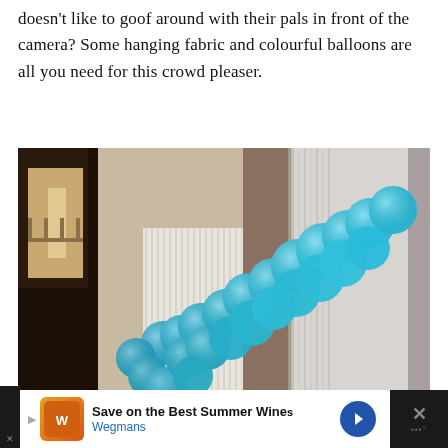doesn't like to goof around with their pals in front of the camera? Some hanging fabric and colourful balloons are all you need for this crowd pleaser.
[Figure (photo): A diagonal arrangement of teal/turquoise balloons twisted together forming a garland or arch shape, photographed against a textured wall with dark and light stone/panel sections in what appears to be an interior space.]
Save on the Best Summer Wines Wegmans